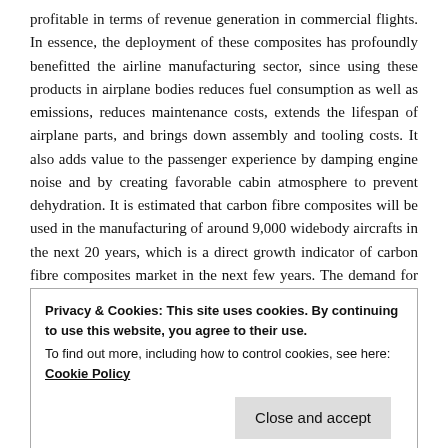profitable in terms of revenue generation in commercial flights. In essence, the deployment of these composites has profoundly benefitted the airline manufacturing sector, since using these products in airplane bodies reduces fuel consumption as well as emissions, reduces maintenance costs, extends the lifespan of airplane parts, and brings down assembly and tooling costs. It also adds value to the passenger experience by damping engine noise and by creating favorable cabin atmosphere to prevent dehydration. It is estimated that carbon fibre composites will be used in the manufacturing of around 9,000 widebody aircrafts in the next 20 years, which is a direct growth indicator of carbon fibre composites market in the next few years. The demand for narrow-body aircrafts will also drive the carbon fibre composites industry, while simultaneously contributing toward making air travel more
Privacy & Cookies: This site uses cookies. By continuing to use this website, you agree to their use.
To find out more, including how to control cookies, see here: Cookie Policy
composites in aircraft. BMW has also partnered with Boeing to tap